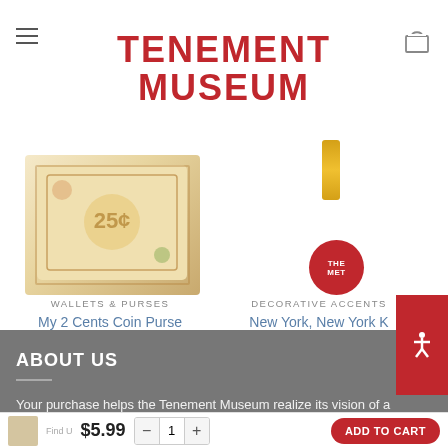TENEMENT MUSEUM
[Figure (photo): Coin purse product image - My 2 Cents Coin Purse]
WALLETS & PURSES
My 2 Cents Coin Purse
$5.99
[Figure (photo): Keychain product image - New York, New York Keychain, with red circular THE MET medallion]
DECORATIVE ACCENTS
New York, New York K Chain
$19.99
ABOUT US
Your purchase helps the Tenement Museum realize its vision of a society that embraces and values the fundamental role of immigration in the evolving American identity.
$5.99  -  1  +  ADD TO CART